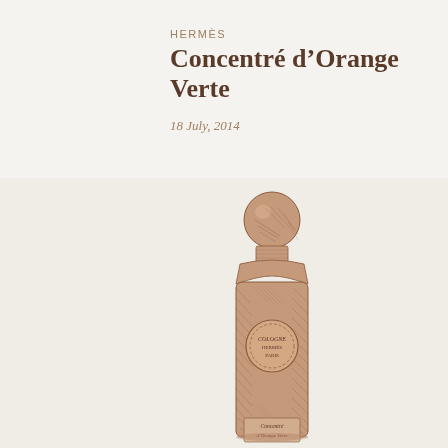HERMÈS
Concentré d'Orange Verte
18 July, 2014
[Figure (illustration): A pencil/ink sketch illustration of a tall perfume bottle with a spherical ball stopper. The bottle is tall and slender with a rounded rectangular shape. It has a circular embossed label in the center reading text (partially legible as Orange/Hermès related). At the base of the bottle, a label reads 'Concentré d'Orange Verte'. The illustration is rendered in warm brown/sepia tones with cross-hatching shading technique.]